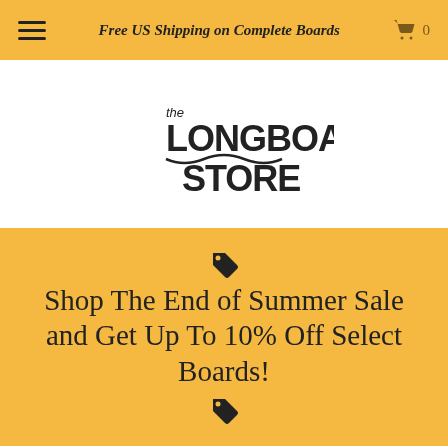Free US Shipping on Complete Boards
[Figure (logo): The Longboard Store logo — handwritten-style text reading 'the LONGBOARD STORE' with a wavy underline]
Shop The End of Summer Sale and Get Up To 10% Off Select Boards!
Landyachtz, and Sector 9. By shopping with us, you're guaranteed free USA shipping and no sales tax. Start browsing our high quality selection today and find the longboard that perfectly